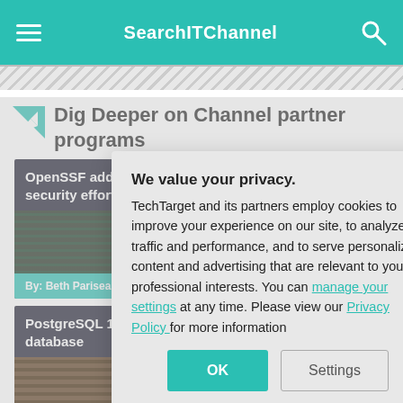SearchITChannel
Dig Deeper on Channel partner programs
[Figure (screenshot): Card thumbnail: OpenSSF adds security effort article with dark green matrix-style background and author Beth Pariseault]
[Figure (screenshot): Card thumbnail: PostgreSQL 13 database article with dark wood texture background]
We value your privacy. TechTarget and its partners employ cookies to improve your experience on our site, to analyze traffic and performance, and to serve personalized content and advertising that are relevant to your professional interests. You can manage your settings at any time. Please view our Privacy Policy for more information